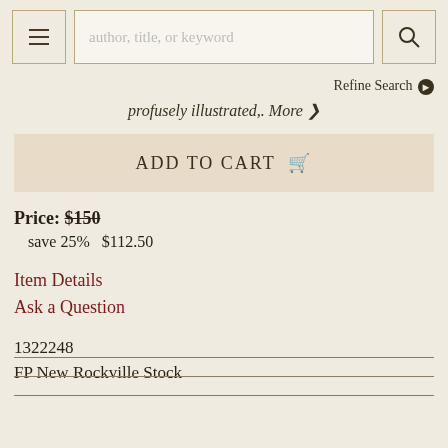author, title, or keyword | Refine Search
profusely illustrated,. More »
ADD TO CART
Price: $150  save 25%  $112.50
Item Details
Ask a Question
1322248
FP New Rockville Stock